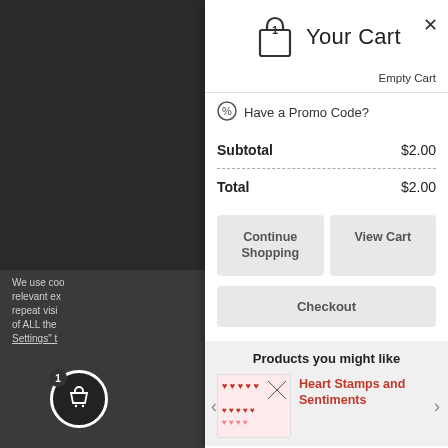Your Cart
Empty Cart
Have a Promo Code?
| Label | Amount |
| --- | --- |
| Subtotal | $2.00 |
| Total | $2.00 |
Continue Shopping
View Cart
Checkout
Products you might like
Heart Stamps and Sentiments
We use coo relevant ex repeat visi of ALL the Settings" t